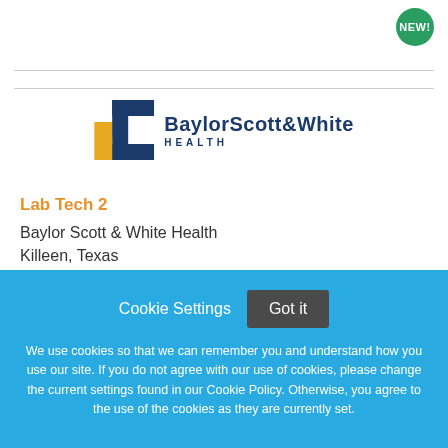[Figure (logo): Baylor Scott & White Health logo with cross icon in blue and gold]
Lab Tech 2
Baylor Scott & White Health
Killeen, Texas
Cookie Settings  Got it
We use cookies so that we can remember you and understand how you use our site. If you do not agree with our use of cookies, please change the current settings found in our Cookie Policy. Otherwise, you agree to the use of the cookies as they are currently set.